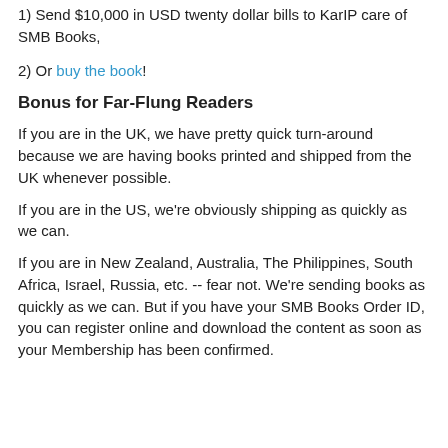1) Send $10,000 in USD twenty dollar bills to KarIP care of SMB Books,
2) Or buy the book!
Bonus for Far-Flung Readers
If you are in the UK, we have pretty quick turn-around because we are having books printed and shipped from the UK whenever possible.
If you are in the US, we're obviously shipping as quickly as we can.
If you are in New Zealand, Australia, The Philippines, South Africa, Israel, Russia, etc. -- fear not. We're sending books as quickly as we can. But if you have your SMB Books Order ID, you can register online and download the content as soon as your Membership has been confirmed.